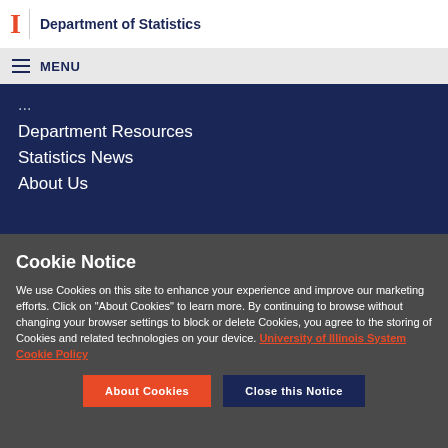I | Department of Statistics
MENU
Department Resources
Statistics News
About Us
Cookie Notice
We use Cookies on this site to enhance your experience and improve our marketing efforts. Click on “About Cookies” to learn more. By continuing to browse without changing your browser settings to block or delete Cookies, you agree to the storing of Cookies and related technologies on your device. University of Illinois System Cookie Policy
About Cookies
Close this Notice